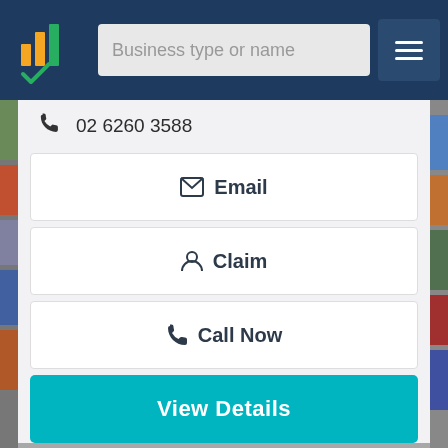Business type or name
02 6260 3588
Email
Claim
Call Now
View Details
[Figure (logo): MCS company logo — large red circle with white text 'mcs' partially visible at bottom of page]